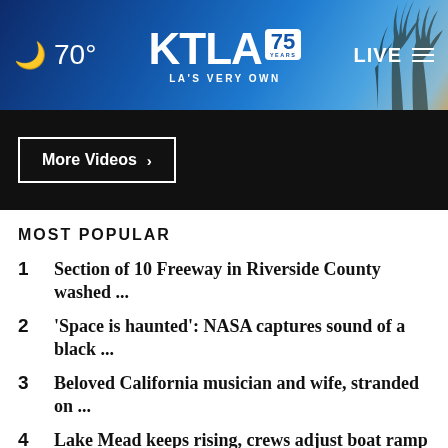🌙 70° KTLA 75 YEARS LA'S VERY OWN LIVE
More Videos ›
MOST POPULAR
1 Section of 10 Freeway in Riverside County washed ...
2 'Space is haunted': NASA captures sound of a black ...
3 Beloved California musician and wife, stranded on ...
4 Lake Mead keeps rising, crews adjust boat ramp for ...